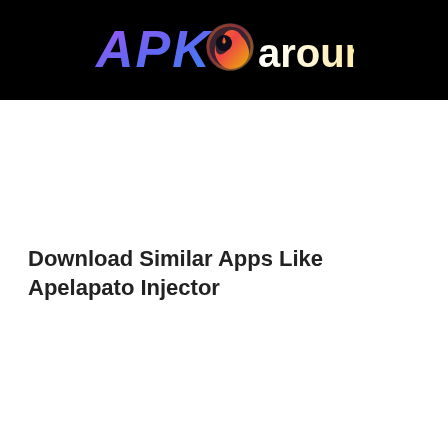[Figure (logo): APKaround logo on black background header bar]
Download Similar Apps Like Apelapato Injector